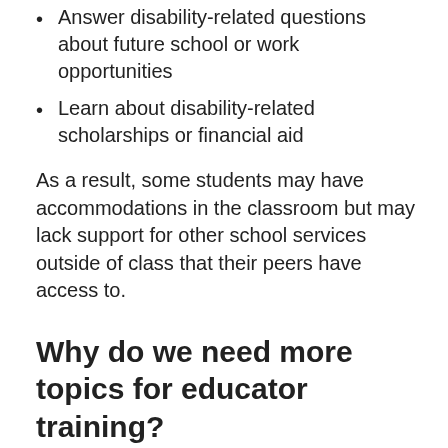Answer disability-related questions about future school or work opportunities
Learn about disability-related scholarships or financial aid
As a result, some students may have accommodations in the classroom but may lack support for other school services outside of class that their peers have access to.
Why do we need more topics for educator training?
Some educators may feel that they should not need in-depth training to support students during activities outside of class. Instead, they might feel that other professionals should do this work. For instance, they might suggest that specialist teachers should make clubs